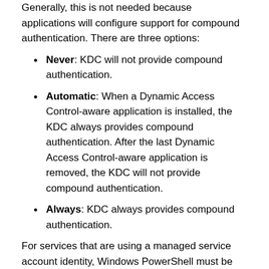Generally, this is not needed because applications will configure support for compound authentication. There are three options:
Never: KDC will not provide compound authentication.
Automatic: When a Dynamic Access Control-aware application is installed, the KDC always provides compound authentication. After the last Dynamic Access Control-aware application is removed, the KDC will not provide compound authentication.
Always: KDC always provides compound authentication.
For services that are using a managed service account identity, Windows PowerShell must be used so that the KDC can start providing compound authentication. Use Set-ADServiceAccount with the CompoundIdentitySupported parameter.